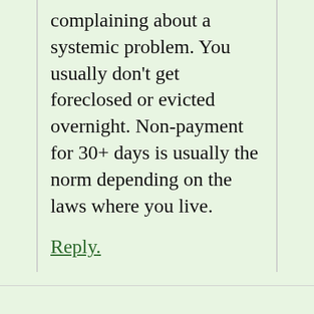complaining about a systemic problem. You usually don't get foreclosed or evicted overnight. Non-payment for 30+ days is usually the norm depending on the laws where you live.
Reply.